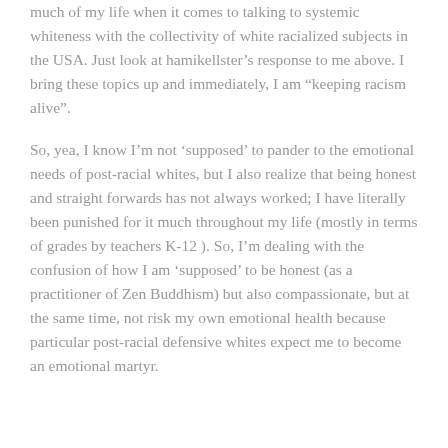much of my life when it comes to talking to systemic whiteness with the collectivity of white racialized subjects in the USA. Just look at hamikellster's response to me above. I bring these topics up and immediately, I am “keeping racism alive”.
So, yea, I know I’m not ‘supposed’ to pander to the emotional needs of post-racial whites, but I also realize that being honest and straight forwards has not always worked; I have literally been punished for it much throughout my life (mostly in terms of grades by teachers K-12 ). So, I’m dealing with the confusion of how I am ‘supposed’ to be honest (as a practitioner of Zen Buddhism) but also compassionate, but at the same time, not risk my own emotional health because particular post-racial defensive whites expect me to become an emotional martyr.